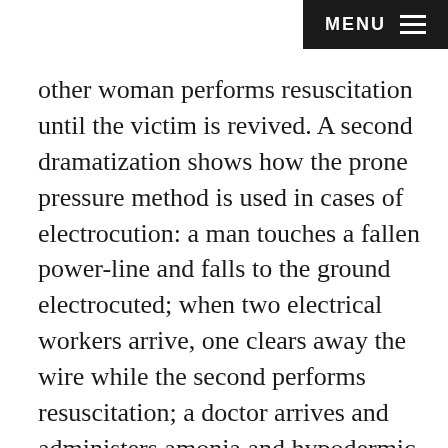MENU
other woman performs resuscitation until the victim is revived. A second dramatization shows how the prone pressure method is used in cases of electrocution: a man touches a fallen power-line and falls to the ground electrocuted; when two electrical workers arrive, one clears away the wire while the second performs resuscitation; a doctor arrives and administers amonia and hypodermic heart stimulants; the patient is eventually revived but is kept lying down until the ambulance arrives. An intertitle reads, 'Employees of Toronto Hydro Electric', and the men who performed the dramatization pose for the camera. The film then shows the details of the prone pressure method using intertitles